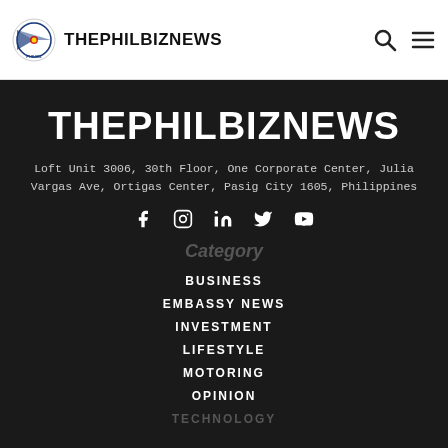THEPHILBIZNEWS
THEPHILBIZNEWS
Loft Unit 3006, 30th Floor, One Corporate Center, Julia Vargas Ave, Ortigas Center, Pasig City 1605, Philippines
[Figure (other): Social media icons: Facebook, Instagram, LinkedIn, Twitter, YouTube]
Category
BUSINESS
EMBASSY NEWS
INVESTMENT
LIFESTYLE
MOTORING
OPINION
TECHNOLOGY